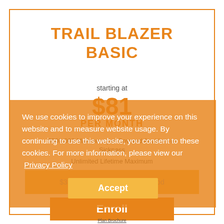TRAIL BLAZER BASIC
starting at
$81
PER MONTH
$500,000 Maximum per Covered Accident or Sickness
Unlimited Lifetime Maximum
$350 Deductible per Policy period
We use cookies to improve your experience on this website and to measure website usage. By continuing to use this website, you consent to these cookies. For more information, please view our Privacy Policy
Accept
Enroll
Plan Brochure